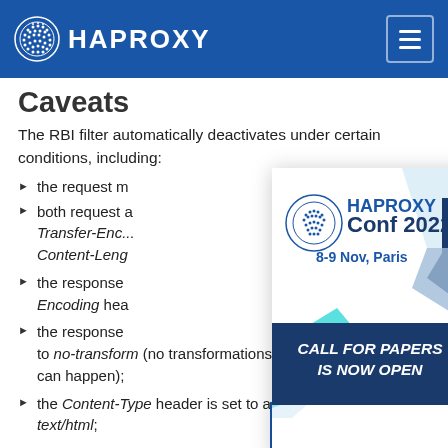HAPROXY
Caveats
The RBI filter automatically deactivates under certain conditions, including:
the request m
both request a... Transfer-Encoding... Content-Leng...
the response ... Encoding hea...
the response ... to no-transform (no transformations or conversions can happen);
the Content-Type header is set to a value other than text/html;
[Figure (advertisement): HAProxy Conf 2022 advertisement overlay showing logo, date '8-9 Nov, Paris', and 'CALL FOR PAPERS IS NOW OPEN' text with decorative chevron shapes]